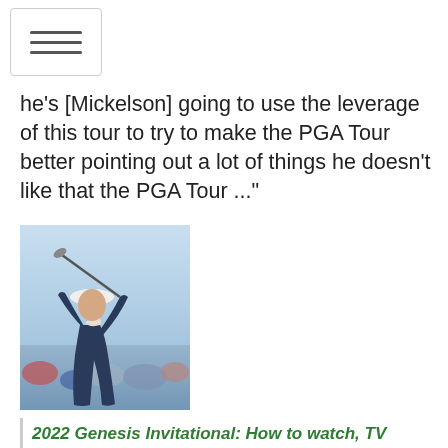he's [Mickelson] going to use the leverage of this tour to try to make the PGA Tour better pointing out a lot of things he doesn't like that the PGA Tour ..."
[Figure (photo): Golfer swinging a club outdoors, wearing a white cap and dark shirt, crowd in background, bright sky]
2022 Genesis Invitational: How to watch, TV schedule, streaming, tee times
By: Kevin Cunningham